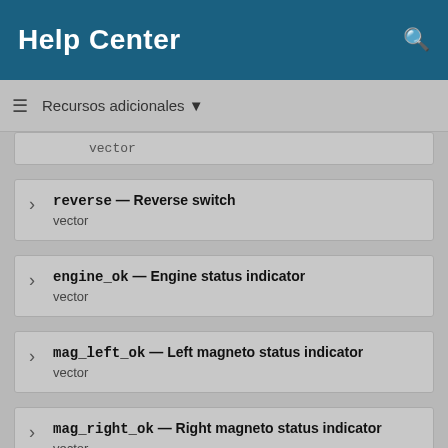Help Center
Recursos adicionales ▼
reverse — Reverse switch
vector
engine_ok — Engine status indicator
vector
mag_left_ok — Left magneto status indicator
vector
mag_right_ok — Right magneto status indicator
vector